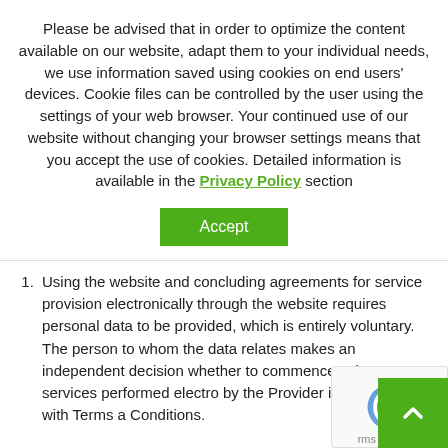Please be advised that in order to optimize the content available on our website, adapt them to your individual needs, we use information saved using cookies on end users' devices. Cookie files can be controlled by the user using the settings of your web browser. Your continued use of our website without changing your browser settings means that you accept the use of cookies. Detailed information is available in the Privacy Policy section
Accept
Using the website and concluding agreements for service provision electronically through the website requires personal data to be provided, which is entirely voluntary. The person to whom the data relates makes an independent decision whether to commence using services performed electronically by the Provider in accordance with Terms and Conditions.